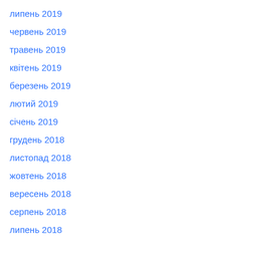липень 2019
червень 2019
травень 2019
квітень 2019
березень 2019
лютий 2019
січень 2019
грудень 2018
листопад 2018
жовтень 2018
вересень 2018
серпень 2018
липень 2018